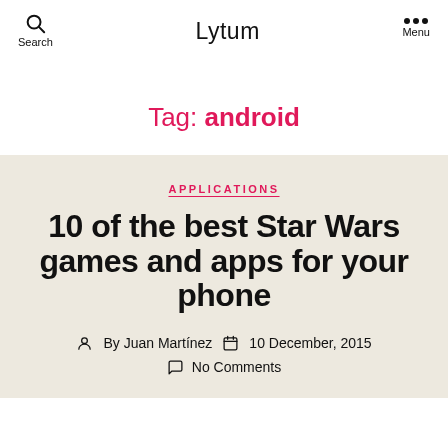Search   Lytum   Menu
Tag: android
APPLICATIONS
10 of the best Star Wars games and apps for your phone
By Juan Martínez   10 December, 2015   No Comments